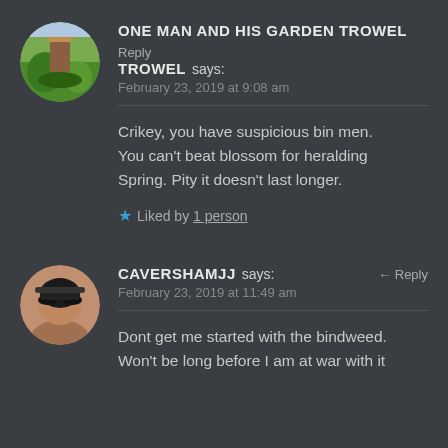ONE MAN AND HIS GARDEN TROWEL says: Reply
February 23, 2019 at 9:08 am
Crikey, you have suspicious bin men. You can't beat blossom for heralding Spring. Pity it doesn't last longer.
★ Liked by 1 person
CAVERSHAMJJ says: Reply
February 23, 2019 at 11:49 am
Dont get me started with the bindweed. Won't be long before I am at war with it